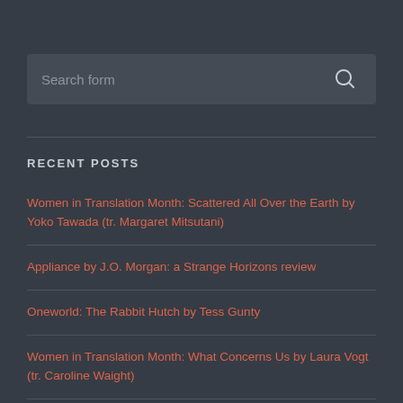[Figure (other): Search form input box with search icon]
RECENT POSTS
Women in Translation Month: Scattered All Over the Earth by Yoko Tawada (tr. Margaret Mitsutani)
Appliance by J.O. Morgan: a Strange Horizons review
Oneworld: The Rabbit Hutch by Tess Gunty
Women in Translation Month: What Concerns Us by Laura Vogt (tr. Caroline Waight)
Women in Translation Month: Life Ceremony by Sayaka